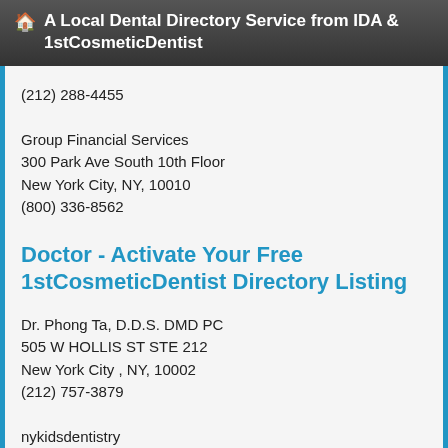🏠 A Local Dental Directory Service from IDA & 1stCosmeticDentist
(212) 288-4455
Group Financial Services
300 Park Ave South 10th Floor
New York City, NY, 10010
(800) 336-8562
Doctor - Activate Your Free 1stCosmeticDentist Directory Listing
Dr. Phong Ta, D.D.S. DMD PC
505 W HOLLIS ST STE 212
New York City , NY, 10002
(212) 757-3879
nykidsdentistry
110 East 87th Street, Suite 1A
New York City, NY, 10128
Hollywood and the Cosmetic Dentist